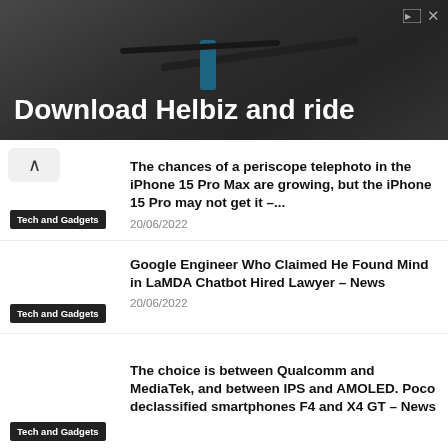[Figure (photo): Advertisement banner: 'Download Helbiz and ride' with dark background showing bicycle handlebars]
The chances of a periscope telephoto in the iPhone 15 Pro Max are growing, but the iPhone 15 Pro may not get it –...
Tech and Gadgets
20/06/2022
Google Engineer Who Claimed He Found Mind in LaMDA Chatbot Hired Lawyer – News
Tech and Gadgets
20/06/2022
The choice is between Qualcomm and MediaTek, and between IPS and AMOLED. Poco declassified smartphones F4 and X4 GT – News
Tech and Gadgets
20/06/2022
Three new ASUS laptops will create panic